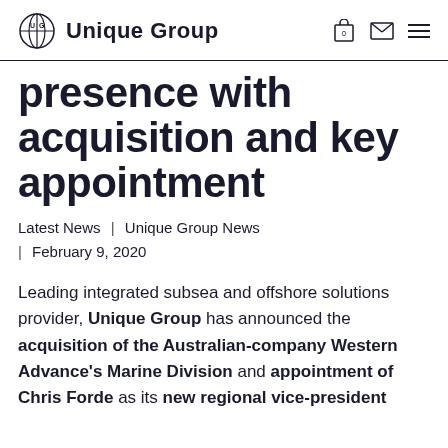Unique Group
presence with acquisition and key appointment
Latest News | Unique Group News | February 9, 2020
Leading integrated subsea and offshore solutions provider, Unique Group has announced the acquisition of the Australian-company Western Advance's Marine Division and appointment of Chris Forde as its new regional vice-president.